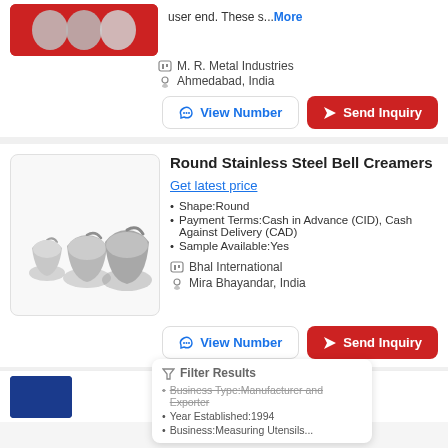user end. These s... More
M. R. Metal Industries
Ahmedabad, India
View Number | Send Inquiry
[Figure (photo): Three round stainless steel bell creamers of different sizes]
Round Stainless Steel Bell Creamers
Get latest price
Shape:Round
Payment Terms:Cash in Advance (CID), Cash Against Delivery (CAD)
Sample Available:Yes
Bhal International
Mira Bhayandar, India
View Number | Send Inquiry
Filter Results
Business Type:Manufacturer and Exporter
Year Established:1994
Business:Measuring Utensils...